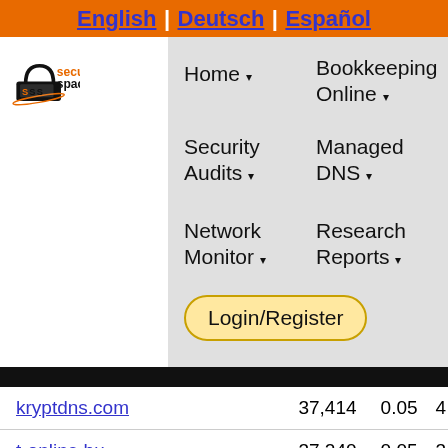English | Deutsch | Español
[Figure (logo): Security Space logo with padlock icon, orange 'security' text and black 'space' text]
Home ▾
Bookkeeping Online ▾
Security Audits ▾
Managed DNS ▾
Network Monitor ▾
Research Reports ▾
Login/Register
| Domain | Count | Pct |  |
| --- | --- | --- | --- |
| kryptdns.com | 37,414 | 0.05 | 4 |
| t-online.hu | 37,240 | 0.05 | 3 |
| ns1.argewebhosting.eu | 36,895 | 0.05 | 3 |
| hostwindsdns.com | 36,213 | 0.05 | 2 |
|  | 37,010 | 0.05 |  |